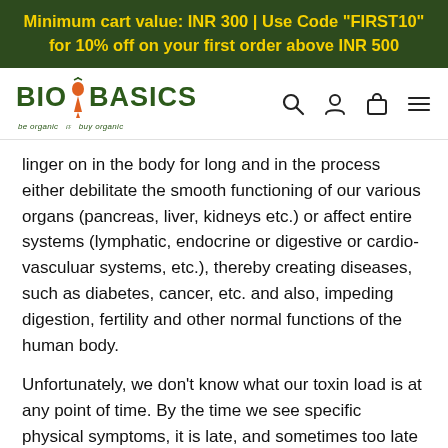Minimum cart value: INR 300 | Use Code "FIRST10" for 10% off on your first order above INR 500
[Figure (logo): BioBasics logo with carrot graphic and tagline 'be organic | buy organic']
linger on in the body for long and in the process either debilitate the smooth functioning of our various organs (pancreas, liver, kidneys etc.) or affect entire systems (lymphatic, endocrine or digestive or cardio-vasculuar systems, etc.), thereby creating diseases, such as diabetes, cancer, etc. and also, impeding digestion, fertility and other normal functions of the human body.
Unfortunately, we don't know what our toxin load is at any point of time. By the time we see specific physical symptoms, it is late, and sometimes too late to reverse the situation. So sorry to break the bubble, but just